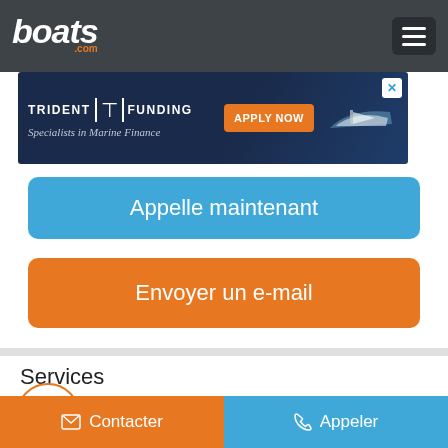boats.com
[Figure (screenshot): Trident Funding advertisement banner: dark blue background with logo, 'APPLY NOW' orange button, and a boat image. Specialists in Marine Finance tagline.]
Appelle maintenant
Envoyer un e-mail
Services
Assurance
Contacter
Appeler